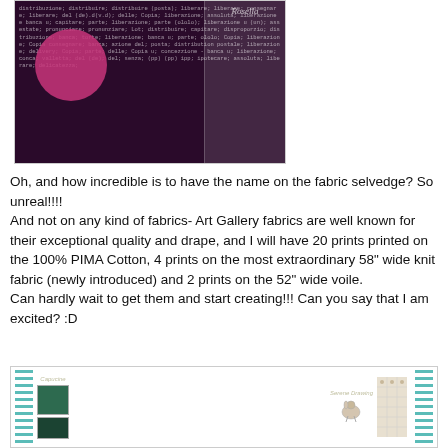[Figure (photo): Close-up photo of dark purple fabric with repeated dictionary/text print and a pink circle motif, with a white lace selvedge strip showing 'Rosella' name on the edge]
Oh, and how incredible is to have the name on the fabric selvedge? So unreal!!!!
And not on any kind of fabrics- Art Gallery fabrics are well known for their exceptional quality and drape, and I will have 20 prints printed on the 100% PIMA Cotton, 4 prints on the most extraordinary 58" wide knit fabric (newly introduced) and 2 prints on the 52" wide voile.
Can hardly wait to get them and start creating!!! Can you say that I am excited? :D
[Figure (photo): Bottom strip showing fabric swatches with teal decorative border, small green fabric samples, and decorative rabbit/animal motifs with text labels]